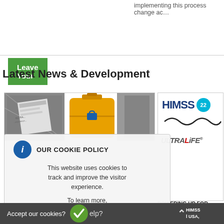implementing this process change ac…
Leave Your
Send an Enquiry
Latest News & Development
[Figure (photo): News thumbnail showing industrial/product images]
[Figure (logo): HIMSS 22 logo with Ultralife branding]
OUR COOKIE POLICY
This website uses cookies to track and improve the visitor experience.
To learn more, please click here.
POWERING UP FOR HIMSS, ORLANDO 2022
Accept our cookies?
elp?
HIMSS l USA,